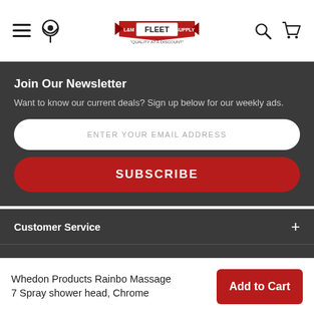L&M Fleet Supply — Quality at a Discount — Navigation header with hamburger menu, location pin, logo, search, and cart icons
Join Our Newsletter
Want to know our current deals? Sign up below for our weekly ads.
ENTER YOUR EMAIL ADDRESS
SUBSCRIBE
Customer Service
About Us
Contact Us
Whedon Products Rainbo Massage 7 Spray shower head, Chrome
Add to Cart